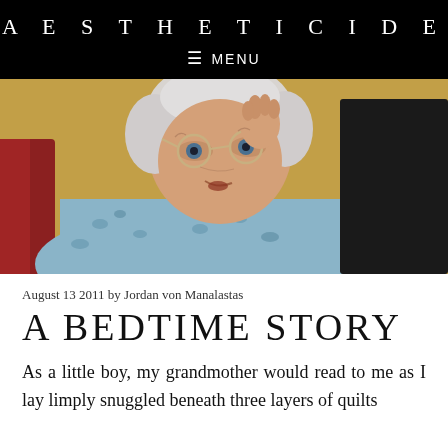AESTHETICIDE
≡  MENU
[Figure (photo): Elderly woman with white hair and glasses, peering over her glasses at a screen with an expression of surprise or confusion, wearing a blue patterned top.]
August 13 2011 by Jordan von Manalastas
A BEDTIME STORY
As a little boy, my grandmother would read to me as I lay limply snuggled beneath three layers of quilts